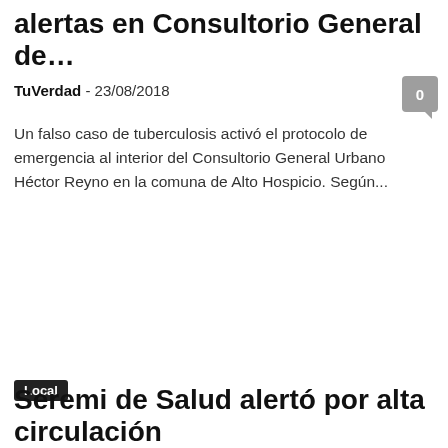alertas en Consultorio General de…
TuVerdad  -  23/08/2018
Un falso caso de tuberculosis activó el protocolo de emergencia al interior del Consultorio General Urbano Héctor Reyno en la comuna de Alto Hospicio. Según...
0
Local
Seremi de Salud alertó por alta circulación